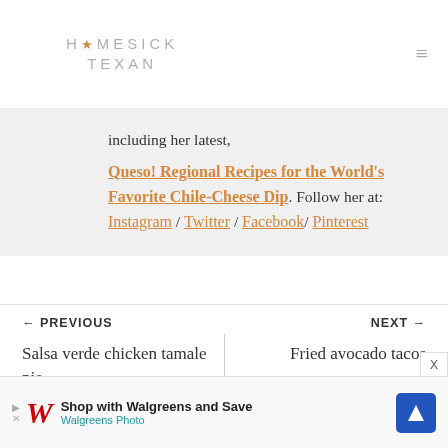HOMESICK TEXAN
including her latest, Queso! Regional Recipes for the World's Favorite Chile-Cheese Dip. Follow her at: Instagram / Twitter / Facebook / Pinterest
← PREVIOUS
Salsa verde chicken tamale pie
NEXT →
Fried avocado tacos
[Figure (other): Walgreens advertisement banner: Shop with Walgreens and Save, Walgreens Photo]